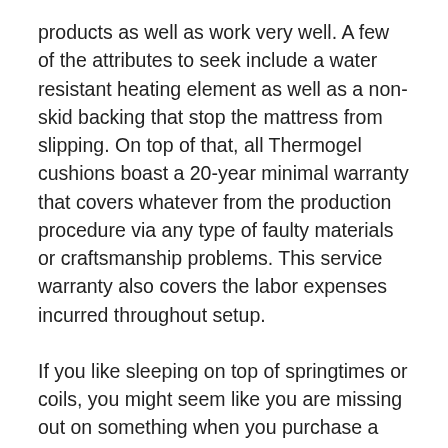products as well as work very well. A few of the attributes to seek include a water resistant heating element as well as a non-skid backing that stop the mattress from slipping. On top of that, all Thermogel cushions boast a 20-year minimal warranty that covers whatever from the production procedure via any type of faulty materials or craftsmanship problems. This service warranty also covers the labor expenses incurred throughout setup.
If you like sleeping on top of springtimes or coils, you might seem like you are missing out on something when you purchase a Layla memory foam bed mattress. There are various manufacturers that make coils and also springs, however none can provide the convenience and assistance foam needs to provide. Thermogel